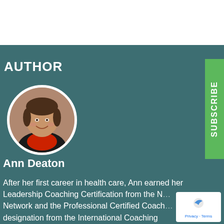AUTHOR
[Figure (photo): Circular portrait photo of Ann Deaton, a woman with short dark hair, smiling, wearing a black jacket and red shirt]
Ann Deaton
After her first career in health care, Ann earned her Leadership Coaching Certification from the N... Network and the Professional Certified Coach... designation from the International Coaching
[Figure (logo): Small overlay badge with a bird/dove logo icon and Privacy - Terms links text]